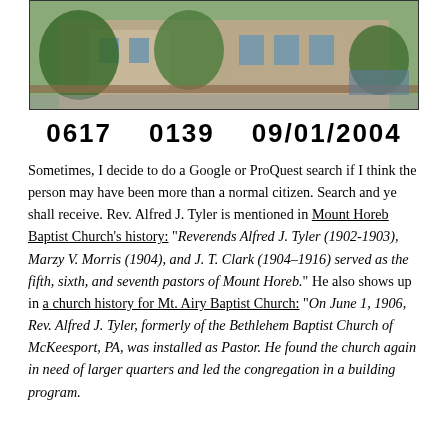[Figure (photo): Photograph of a building exterior with trees and vegetation in front, partial view of a street scene.]
0617    0139    09/01/2004
Sometimes, I decide to do a Google or ProQuest search if I think the person may have been more than a normal citizen. Search and ye shall receive. Rev. Alfred J. Tyler is mentioned in Mount Horeb Baptist Church's history: “Reverends Alfred J. Tyler (1902-1903), Marzy V. Morris (1904), and J. T. Clark (1904–1916) served as the fifth, sixth, and seventh pastors of Mount Horeb.” He also shows up in a church history for Mt. Airy Baptist Church: “On June 1, 1906, Rev. Alfred J. Tyler, formerly of the Bethlehem Baptist Church of McKeesport, PA, was installed as Pastor. He found the church again in need of larger quarters and led the congregation in a building program.